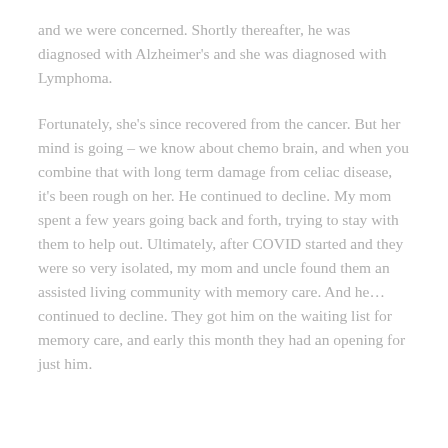and we were concerned. Shortly thereafter, he was diagnosed with Alzheimer's and she was diagnosed with Lymphoma.
Fortunately, she's since recovered from the cancer. But her mind is going – we know about chemo brain, and when you combine that with long term damage from celiac disease, it's been rough on her. He continued to decline. My mom spent a few years going back and forth, trying to stay with them to help out. Ultimately, after COVID started and they were so very isolated, my mom and uncle found them an assisted living community with memory care. And he…continued to decline. They got him on the waiting list for memory care, and early this month they had an opening for just him.